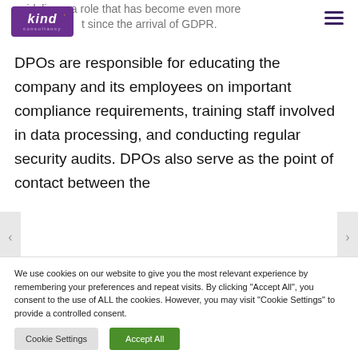guidelines, a role that has become even more important since the arrival of GDPR.
DPOs are responsible for educating the company and its employees on important compliance requirements, training staff involved in data processing, and conducting regular security audits. DPOs also serve as the point of contact between the
We use cookies on our website to give you the most relevant experience by remembering your preferences and repeat visits. By clicking "Accept All", you consent to the use of ALL the cookies. However, you may visit "Cookie Settings" to provide a controlled consent.